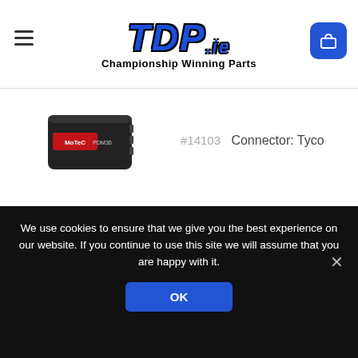[Figure (logo): TDP.ie Championship Winning Parts logo with blue italic bold text and hamburger menu and cart button]
[Figure (photo): MoTeC PDM30 power distribution module product photo, small black rectangular device with MoTeC label]
#14103   Connector: Tyco
MoTeC PDMs are available in four models to suit vehicles
We use cookies to ensure that we give you the best experience on our website. If you continue to use this site we will assume that you are happy with it.